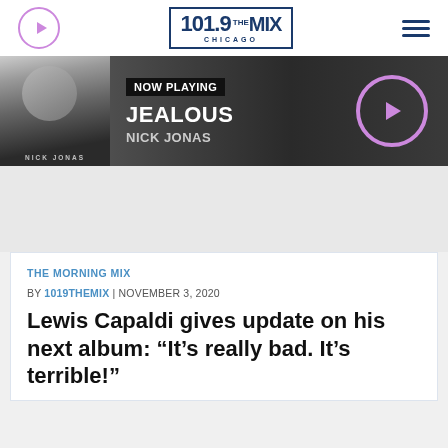101.9 THE MIX CHICAGO
[Figure (screenshot): Now Playing banner showing Nick Jonas album art, NOW PLAYING tag, song JEALOUS by NICK JONAS, and purple play button circle on dark gradient background]
THE MORNING MIX
BY 1019THEMIX | NOVEMBER 3, 2020
Lewis Capaldi gives update on his next album: “It’s really bad. It’s terrible!”